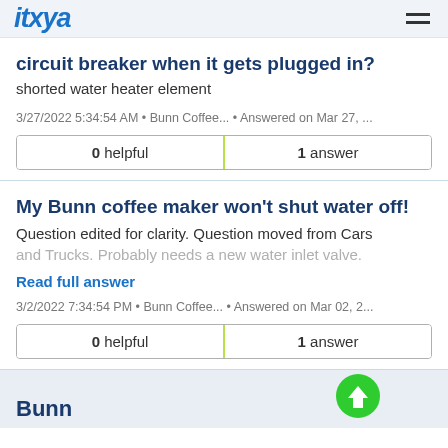itxya
circuit breaker when it gets plugged in?
shorted water heater element
3/27/2022 5:34:54 AM • Bunn Coffee... • Answered on Mar 27, ...
| 0 helpful | 1 answer |
| --- | --- |
My Bunn coffee maker won't shut water off!
Question edited for clarity. Question moved from Cars and Trucks. Probably needs a new water inlet valve.
Read full answer
3/2/2022 7:34:54 PM • Bunn Coffee... • Answered on Mar 02, 2...
| 0 helpful | 1 answer |
| --- | --- |
Bunn